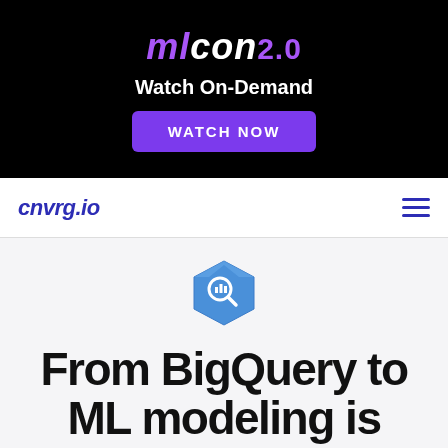[Figure (logo): MLCon 2.0 banner advertisement with Watch On-Demand text and WATCH NOW button on black background]
cnvrg.io
[Figure (logo): Google BigQuery hexagonal blue logo icon]
From BigQuery to ML modeling is